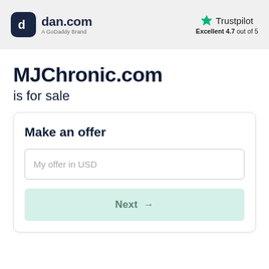[Figure (logo): dan.com logo with dark navy rounded square icon and 'dan.com' text, 'A GoDaddy Brand' subtitle]
[Figure (logo): Trustpilot logo with green star and 'Trustpilot' text, 'Excellent 4.7 out of 5' rating below]
MJChronic.com is for sale
Make an offer
My offer in USD
Next →